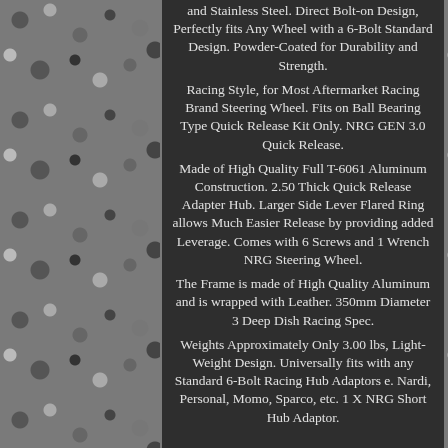and Stainless Steel. Direct Bolt-on Design, Perfectly fits Any Wheel with a 6-Bolt Standard Design. Powder-Coated for Durability and Strength.
Racing Style, for Most Aftermarket Racing Brand Steering Wheel. Fits on Ball Bearing Type Quick Release Kit Only. NRG GEN 3.0 Quick Release.
Made of High Quality Full T-6061 Aluminum Construction. 2.50 Thick Quick Release Adapter Hub. Larger Side Lever Flared Ring allows Much Easier Release by providing added Leverage. Comes with 6 Screws and 1 Wrench NRG Steering Wheel.
The Frame is made of High Quality Aluminum and is wrapped with Leather. 350mm Diameter 3 Deep Dish Racing Spec.
Weights Approximately Only 3.00 lbs, Light-Weight Design. Universally fits with any Standard 6-Bolt Racing Hub Adaptors e. Nardi, Personal, Momo, Sparco, etc. 1 X NRG Short Hub Adaptor.